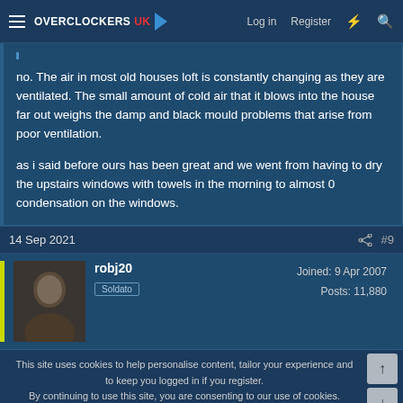Overclockers UK — Log in | Register
no. The air in most old houses loft is constantly changing as they are ventilated. The small amount of cold air that it blows into the house far out weighs the damp and black mould problems that arise from poor ventilation.

as i said before ours has been great and we went from having to dry the upstairs windows with towels in the morning to almost 0 condensation on the windows.
14 Sep 2021  #9
robj20  Soldato  Joined: 9 Apr 2007  Posts: 11,880
This site uses cookies to help personalise content, tailor your experience and to keep you logged in if you register.
By continuing to use this site, you are consenting to our use of cookies.